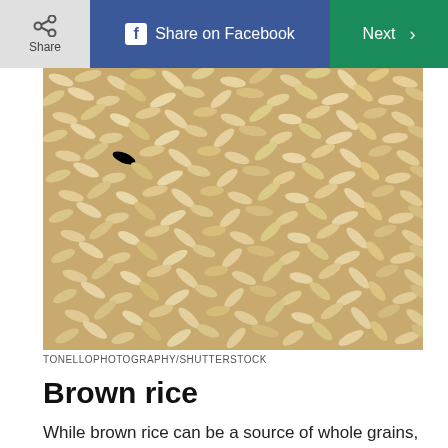Share | Share on Facebook | Next >
[Figure (photo): Close-up photograph of brown rice grains spread out, showing the tan/beige colored unpolished rice kernels filling the entire frame.]
TONELLOPHOTOGRAPHY/SHUTTERSTOCK
Brown rice
While brown rice can be a source of whole grains, it may have higher levels of inorganic arsenic